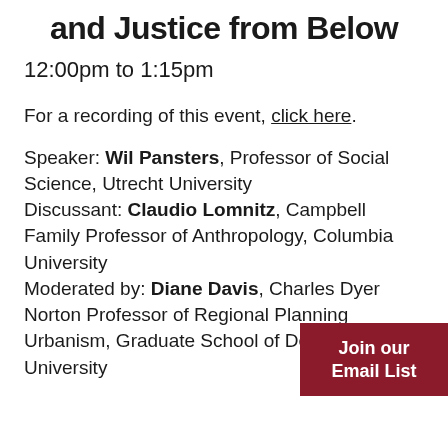and Justice from Below
12:00pm to 1:15pm
For a recording of this event, click here.
Speaker: Wil Pansters, Professor of Social Science, Utrecht University
Discussant: Claudio Lomnitz, Campbell Family Professor of Anthropology, Columbia University
Moderated by: Diane Davis, Charles Dyer Norton Professor of Regional Planning Urbanism, Graduate School of Design, Harvard University
Join our Email List